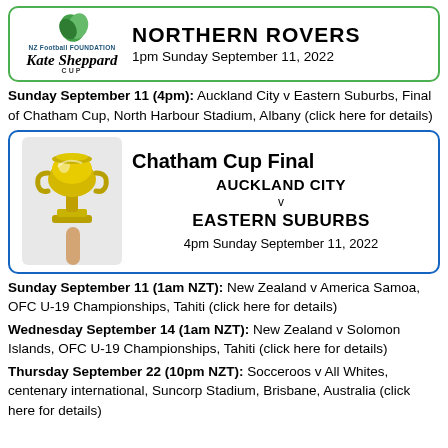[Figure (infographic): Green-bordered box with NZ Football Foundation Kate Sheppard Cup logo on left and 'NORTHERN ROVERS 1pm Sunday September 11, 2022' text on right]
Sunday September 11 (4pm): Auckland City v Eastern Suburbs, Final of Chatham Cup, North Harbour Stadium, Albany (click here for details)
[Figure (infographic): Blue-bordered box with trophy photo on left and 'Chatham Cup Final AUCKLAND CITY v EASTERN SUBURBS 4pm Sunday September 11, 2022' on right]
Sunday September 11 (1am NZT): New Zealand v America Samoa, OFC U-19 Championships, Tahiti (click here for details)
Wednesday September 14 (1am NZT): New Zealand v Solomon Islands, OFC U-19 Championships, Tahiti (click here for details)
Thursday September 22 (10pm NZT): Socceroos v All Whites, centenary international, Suncorp Stadium, Brisbane, Australia (click here for details)